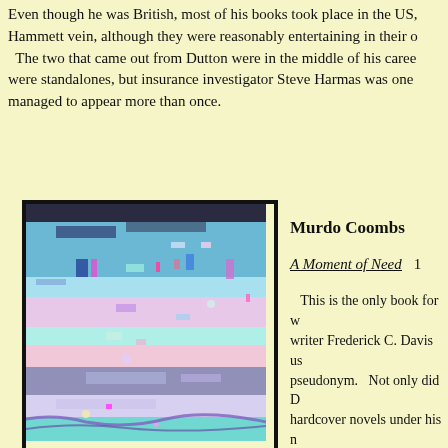Even though he was British, most of his books took place in the US, Hammett vein, although they were reasonably entertaining in their o The two that came out from Dutton were in the middle of his caree were standalones, but insurance investigator Steve Harmas was one managed to appear more than once.
[Figure (illustration): Book cover image showing a digitally distorted / glitched pastel abstract scene with blues, pinks and purples. Framed with a thick black border.]
Murdo Coombs
A Moment of Need   1
This is the only book for writer Frederick C. Davis us pseudonym.   Not only did D hardcover novels under his n also wrote a multitude of sh magazines. A Moment of Need is an e pulp novelette, "Thirteen Sh